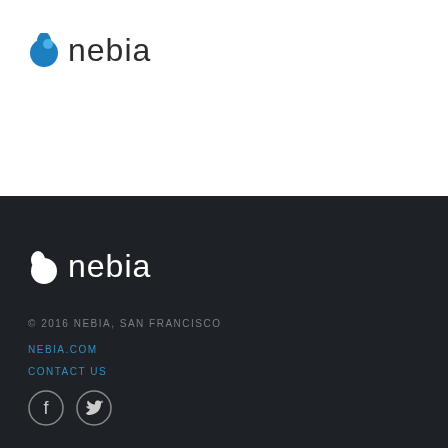[Figure (logo): Nebia logo with blue teardrop/droplet icon and 'nebia' wordmark in dark gray, on white background]
[Figure (logo): Nebia logo with white teardrop/droplet icon and 'nebia' wordmark in white, on dark background]
© 2016 NEBIA, SAN FRANCISCO
NEBIA.COM
CONTACT US
[Figure (illustration): Facebook and Twitter social media circle icons in white outline on dark background]